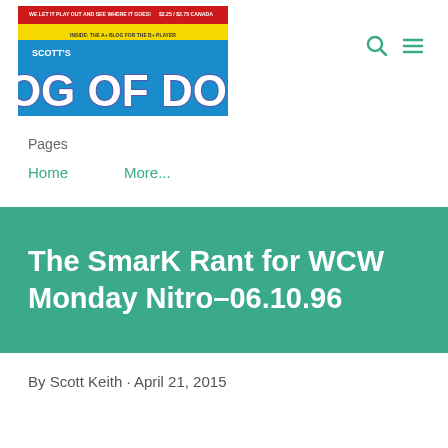Scott's Blog of Doom — WE LET IT PLAY OUT AND SEE WHERE IT GOES! $2.25 / $2.75 CANADA — INSIDE: THE A+ BLOG FOR THE B+ PLAYER
Pages
Home    More...
The SmarK Rant for WCW Monday Nitro–06.10.96
By Scott Keith · April 21, 2015